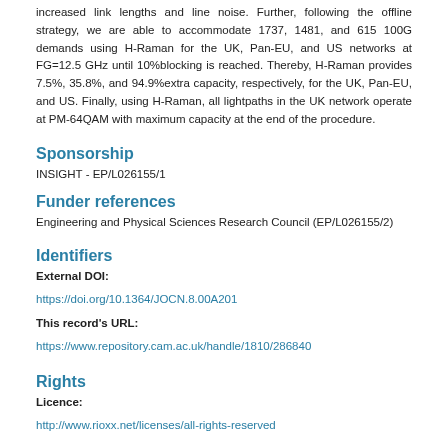increased link lengths and line noise. Further, following the offline strategy, we are able to accommodate 1737, 1481, and 615 100G demands using H-Raman for the UK, Pan-EU, and US networks at FG=12.5 GHz until 10%blocking is reached. Thereby, H-Raman provides 7.5%, 35.8%, and 94.9%extra capacity, respectively, for the UK, Pan-EU, and US. Finally, using H-Raman, all lightpaths in the UK network operate at PM-64QAM with maximum capacity at the end of the procedure.
Sponsorship
INSIGHT - EP/L026155/1
Funder references
Engineering and Physical Sciences Research Council (EP/L026155/2)
Identifiers
External DOI:
https://doi.org/10.1364/JOCN.8.00A201
This record's URL:
https://www.repository.cam.ac.uk/handle/1810/286840
Rights
Licence:
http://www.rioxx.net/licenses/all-rights-reserved